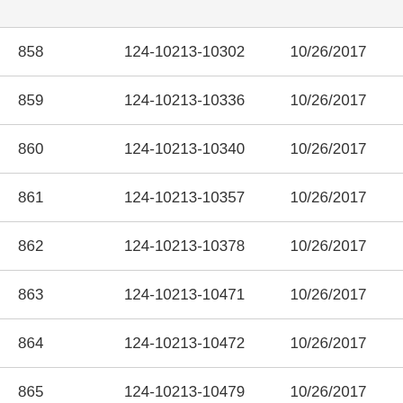|  |  |  |  |
| --- | --- | --- | --- |
| 858 | 124-10213-10302 | 10/26/2017 | In Pa |
| 859 | 124-10213-10336 | 10/26/2017 | In Pa |
| 860 | 124-10213-10340 | 10/26/2017 | In Pa |
| 861 | 124-10213-10357 | 10/26/2017 | In Pa |
| 862 | 124-10213-10378 | 10/26/2017 | In Pa |
| 863 | 124-10213-10471 | 10/26/2017 | In Pa |
| 864 | 124-10213-10472 | 10/26/2017 | In Pa |
| 865 | 124-10213-10479 | 10/26/2017 | In Pa |